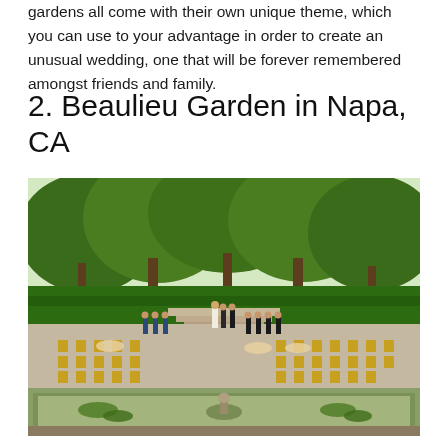gardens all come with their own unique theme, which you can use to your advantage in order to create an unusual wedding, one that will be forever remembered amongst friends and family.
2. Beaulieu Garden in Napa, CA
[Figure (photo): Outdoor wedding ceremony at Beaulieu Garden in Napa, CA. Guests are seated in gold chiavari chairs on both sides of an aisle. The couple stands at the altar steps with an officiant. Bridesmaids in navy dresses are visible on the left, groomsmen in dark suits on the right. A tall hedge forms the backdrop, with large green trees above. In the foreground is a rectangular reflecting pool with a bronze cherub fountain. Some guests hold parasols.]